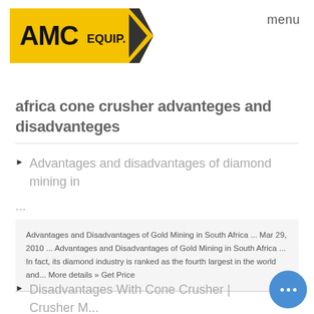[Figure (logo): AMC EQUIP. logo on yellow background with black arrow]
menu
africa cone crusher advanteges and disadvanteges
Advantages and disadvantages of diamond mining in ...
Advantages and Disadvantages of Gold Mining in South Africa ... Mar 29, 2010 ... Advantages and Disadvantages of Gold Mining in South Africa ... In fact, its diamond industry is ranked as the fourth largest in the world and... More details » Get Price
Disadvantages With Cone Crusher | Crusher M...